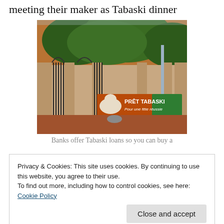meeting their maker as Tabaski dinner
[Figure (photo): Outdoor photo showing a gate and wall with a large banner reading 'PRÊT TABASKI Pour une fête réussie' with an image of a sheep, set against trees in the background and red dirt ground.]
Banks offer Tabaski loans so you can buy a
Privacy & Cookies: This site uses cookies. By continuing to use this website, you agree to their use.
To find out more, including how to control cookies, see here: Cookie Policy
wouldn't a deity be just as happy with, say, a big plate of